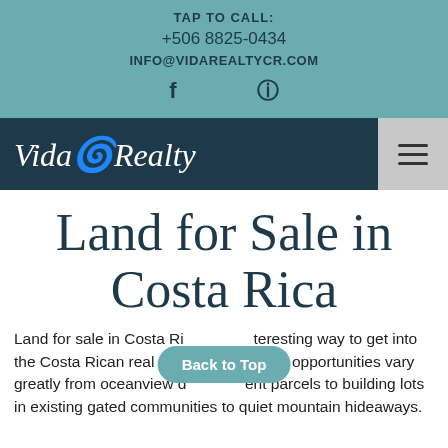TAP TO CALL:
+506 8825-0434
INFO@VIDAREALTYCR.COM
[Figure (logo): Vida Realty logo with teal spiral emblem on dark navy navigation bar, with hamburger menu button on the right]
Land for Sale in Costa Rica
Land for sale in Costa Rica is an interesting way to get into the Costa Rican real estate market. The opportunities vary greatly from oceanview development parcels to building lots in existing gated communities to quiet mountain hideaways.